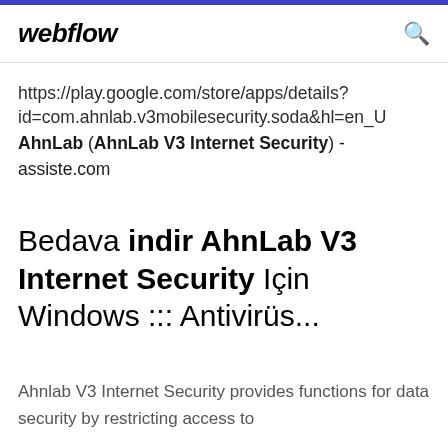webflow
https://play.google.com/store/apps/details?id=com.ahnlab.v3mobilesecurity.soda&hl=en_U
AhnLab (AhnLab V3 Internet Security) - assiste.com
Bedava indir AhnLab V3 Internet Security Için Windows ::: Antivirüs...
Ahnlab V3 Internet Security provides functions for data security by restricting access to